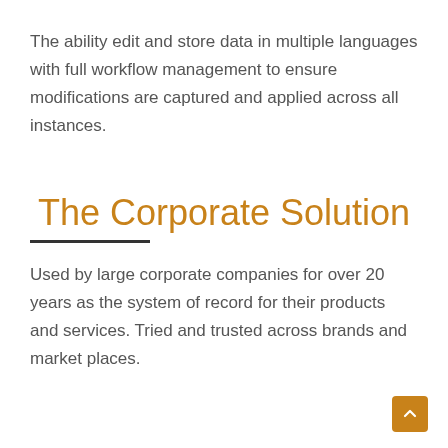The ability edit and store data in multiple languages with full workflow management to ensure modifications are captured and applied across all instances.
The Corporate Solution
Used by large corporate companies for over 20 years as the system of record for their products and services. Tried and trusted across brands and market places.